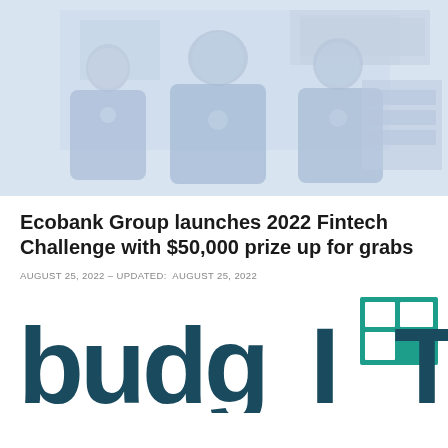[Figure (photo): Three people wearing blue t-shirts with logos, standing outdoors in front of a building with signage. The image is faded/washed out with a light blue-grey tone.]
Ecobank Group launches 2022 Fintech Challenge with $50,000 prize up for grabs
AUGUST 25, 2022 – UPDATED: AUGUST 25, 2022
[Figure (logo): BudgIT logo — large teal and dark blue letters spelling 'budgIT' with a stylized grid/table icon on the right side.]